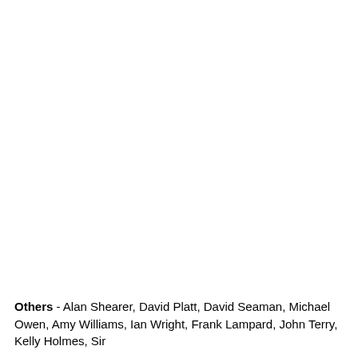Others - Alan Shearer, David Platt, David Seaman, Michael Owen, Amy Williams, Ian Wright, Frank Lampard, John Terry, Kelly Holmes, Sir...